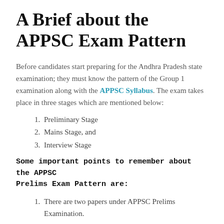A Brief about the APPSC Exam Pattern
Before candidates start preparing for the Andhra Pradesh state examination; they must know the pattern of the Group 1 examination along with the APPSC Syllabus. The exam takes place in three stages which are mentioned below:
Preliminary Stage
Mains Stage, and
Interview Stage
Some important points to remember about the APPSC Prelims Exam Pattern are:
There are two papers under APPSC Prelims Examination.
Both the papers in APPSC Prelims have 120 questions